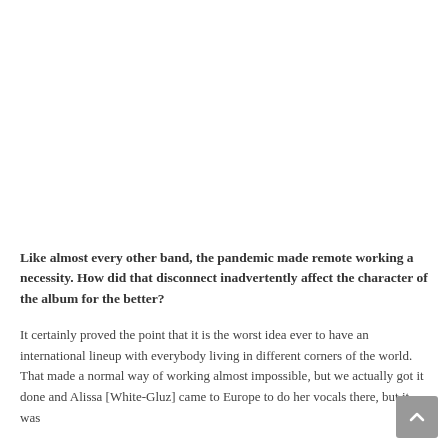Like almost every other band, the pandemic made remote working a necessity. How did that disconnect inadvertently affect the character of the album for the better?
It certainly proved the point that it is the worst idea ever to have an international lineup with everybody living in different corners of the world. That made a normal way of working almost impossible, but we actually got it done and Alissa [White-Gluz] came to Europe to do her vocals there, but it was